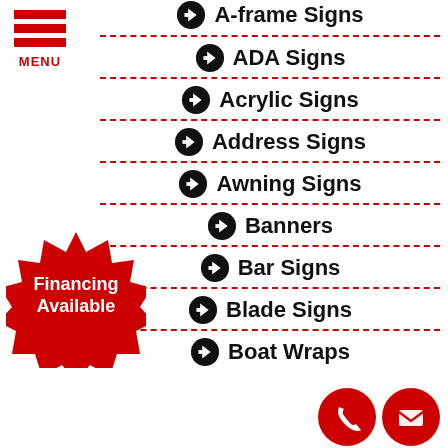[Figure (logo): Red hamburger menu icon with three horizontal red bars and MENU label in red text below]
A-frame Signs
ADA Signs
Acrylic Signs
Address Signs
Awning Signs
Banners
Bar Signs
Blade Signs
Boat Wraps
[Figure (illustration): Red starburst badge with white bold text 'Financing Available']
[Figure (illustration): Red circle phone icon and red circle envelope/mail icon for contact]